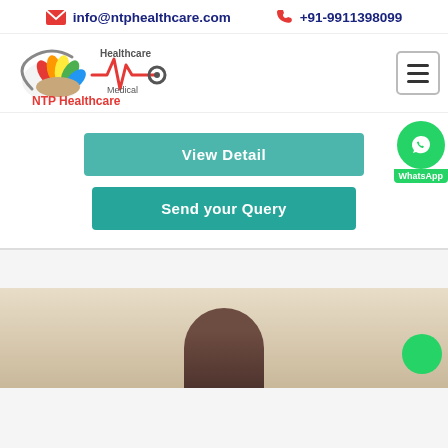info@ntphealthcare.com  +91-9911398099
[Figure (logo): NTP Healthcare logo with stethoscope and ECG heartbeat line graphic, colorful bird/hands illustration, text reading Healthcare Medical NTP Healthcare]
[Figure (other): Hamburger menu icon (three horizontal lines) in a rounded rectangle]
View Detail
Send your Query
[Figure (other): WhatsApp button with green circle icon and WhatsApp label]
[Figure (photo): Partial view of a person's head/face at the bottom of the page, cropped]
[Figure (other): Green WhatsApp circle button at bottom right]